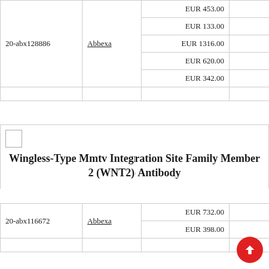| ID | Vendor | Price | Quantity |
| --- | --- | --- | --- |
|  |  | EUR 453.00 | 100 ug |
|  |  | EUR 133.00 | 10 ug |
| 20-abx128886 | Abbexa | EUR 1316.00 | 1 mg |
|  |  | EUR 620.00 | 200 ug |
|  |  | EUR 342.00 | 50 ug |
Wingless-Type Mmtv Integration Site Family Member 2 (WNT2) Antibody
| ID | Vendor | Price | Quantity |
| --- | --- | --- | --- |
| 20-abx116672 | Abbexa | EUR 732.00 | 150 ul |
|  |  | EUR 398.00 | 50 ul |